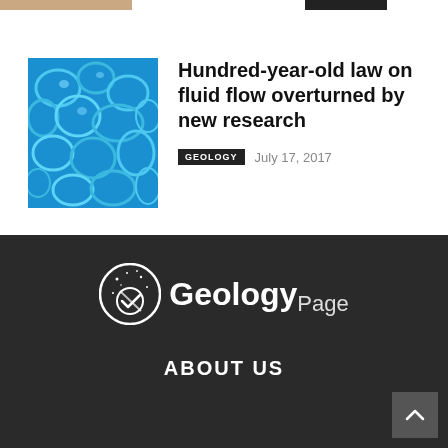[Figure (photo): Partial view of a cropped image at top-left and a dark tag at top-right, both partially visible]
[Figure (photo): Close-up photograph of blue water bubbles or fluid flow patterns]
Hundred-year-old law on fluid flow overturned by new research
GEOLOGY   July 17, 2017
[Figure (logo): GeologyPage logo: circular icon with checkmark and stars, followed by 'Geology' in bold white and 'Page' in lighter text]
ABOUT US